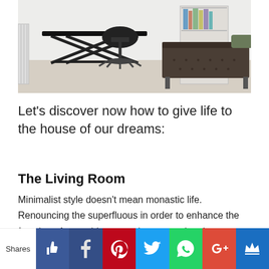[Figure (photo): Interior room photo showing a modern minimalist space with a black X-frame desk/table, a black office chair, open shelving with books, and a dark brown tufted daybed/chaise with a green pillow on a light wood floor.]
Let's discover now how to give life to the house of our dreams:
The Living Room
Minimalist style doesn't mean monastic life. Renouncing the superfluous in order to enhance the function of everything must, however, give rise to comfortable and welcoming environments, which invite you to rest and release well-being. The space in the photo conveys all this: a rigorous environment with clean, clean lines, no
Shares [like] [Facebook] [Pinterest] [Twitter] [WhatsApp] [Google+] [Crown]